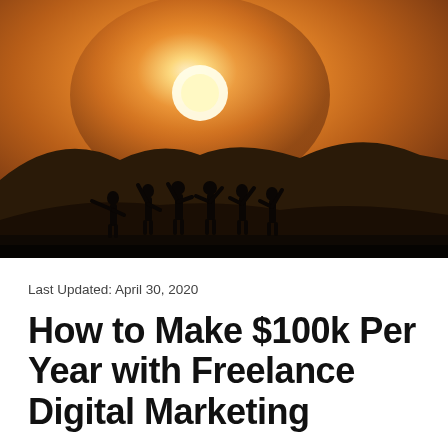[Figure (photo): Silhouette of six people standing on a hill with arms raised against a warm orange sunset sky with mountains in the background]
Last Updated: April 30, 2020
How to Make $100k Per Year with Freelance Digital Marketing